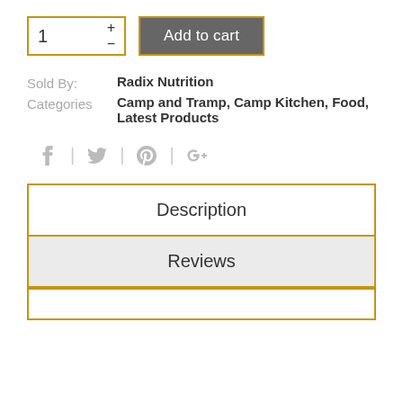1  +  -  Add to cart
Sold By: Radix Nutrition
Categories: Camp and Tramp, Camp Kitchen, Food, Latest Products
[Figure (infographic): Social media share icons: Facebook (f), Twitter (bird), Pinterest (p circle), Google+ (G+), separated by vertical dividers]
Description
Reviews
(partial, cut off at bottom)